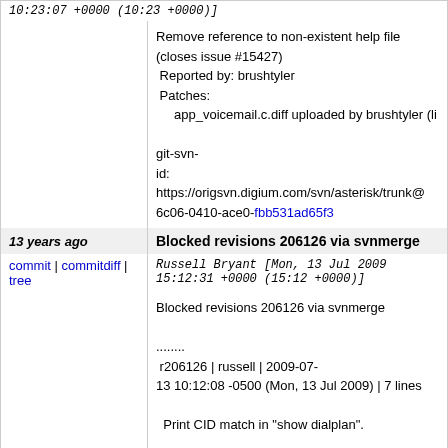10:23:07 +0000 (10:23 +0000)]
Remove reference to non-existent help file (closes issue #15427)
 Reported by: brushtyler
 Patches:
     app_voicemail.c.diff uploaded by brushtyler (li

git-svn-id: https://origsvn.digium.com/svn/asterisk/trunk@
6c06-0410-ace0-fbb531ad65f3
13 years ago
Blocked revisions 206126 via svnmerge
commit | commitdiff | tree   Russell Bryant [Mon, 13 Jul 2009 15:12:31 +0000 (15:12 +0000)]
Blocked revisions 206126 via svnmerge

........
 r206126 | russell | 2009-07-13 10:12:08 -0500 (Mon, 13 Jul 2009) | 7 lines

 Print CID match in "show dialplan".

 (closes issue #14702)
 Reported by: klaus3000
 Patches:
     patch_asterisk_1.4.23_CID_matching.txt uplo
........